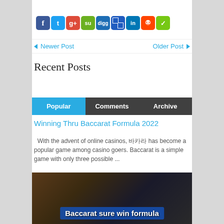[Figure (other): Row of social media sharing icons: Facebook, Twitter, Google+, StumbleUpon, Digg, Delicious, LinkedIn, Reddit, and a chat/messaging app icon]
◄ Newer Post    Older Post ►
Recent Posts
[Figure (other): Tab navigation bar with three tabs: Popular (active, blue), Comments (dark), Archive (dark)]
Winning Thru Baccarat Formula 2022
With the advent of online casinos, 바카라 has become a popular game among casino goers. Baccarat is a simple game with only three possible ...
[Figure (photo): Photo of casino table with poker chips and hands, with overlay text reading 'Baccarat sure win formula']